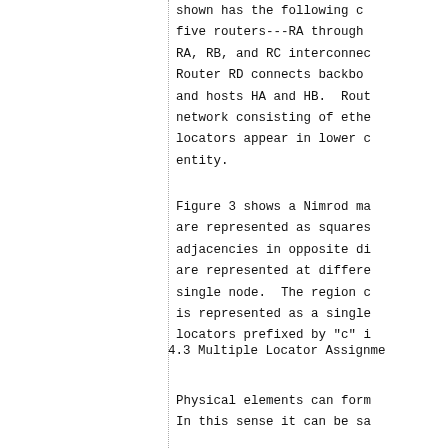shown has the following c... five routers---RA through RA, RB, and RC interconnec... Router RD connects backbo... and hosts HA and HB.  Rou... network consisting of eth... locators appear in lower ... entity.
Figure 3 shows a Nimrod m... are represented as squares adjacencies in opposite di... are represented at differe... single node.  The region ... is represented as a single locators prefixed by "c" ...
4.3 Multiple Locator Assignme...
Physical elements can for... In this sense it can be s...